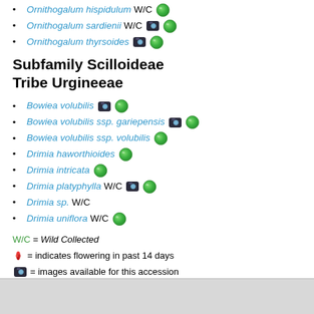Ornithogalum hispidulum W/C [globe]
Ornithogalum sardienii W/C [camera] [globe]
Ornithogalum thyrsoides [camera] [globe]
Subfamily Scilloideae Tribe Urgineeae
Bowiea volubilis [camera] [globe]
Bowiea volubilis ssp. gariepensis [camera] [globe]
Bowiea volubilis ssp. volubilis [globe]
Drimia haworthioides [globe]
Drimia intricata [globe]
Drimia platyphylla W/C [camera] [globe]
Drimia sp. W/C
Drimia uniflora W/C [globe]
W/C = Wild Collected
[flower] = indicates flowering in past 14 days
[camera] = images available for this accession
[globe] = map available for this accession
[NEW!] = accession added within past 90 days